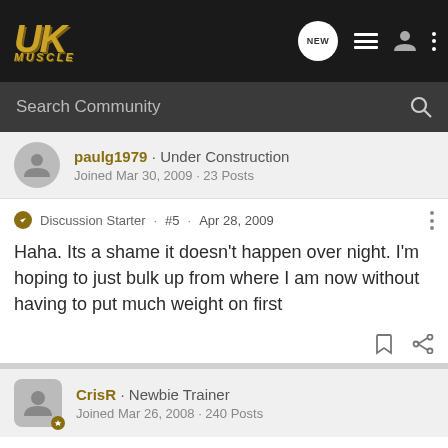UKMuscle — navigation bar with logo, NEW chat, list, user, and menu icons
Search Community
paulg1979 · Under Construction
Joined Mar 30, 2009 · 23 Posts
Discussion Starter · #5 · Apr 28, 2009
Haha. Its a shame it doesn't happen over night. I'm hoping to just bulk up from where I am now without having to put much weight on first
CrisR · Newbie Trainer
Joined Mar 26, 2008 · 240 Posts